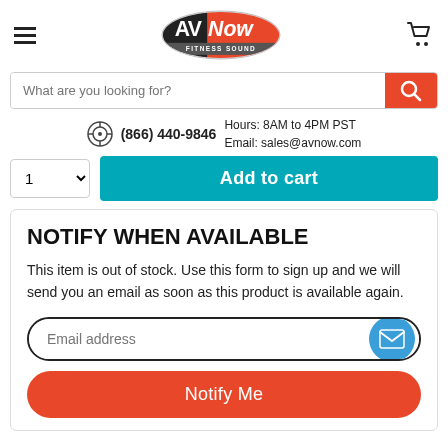AVNow Fitness Sound — navigation header with logo, hamburger menu, and cart icon
What are you looking for?
(866) 440-9846  Hours: 8AM to 4PM PST  Email: sales@avnow.com
Add to cart
NOTIFY WHEN AVAILABLE
This item is out of stock. Use this form to sign up and we will send you an email as soon as this product is available again.
Email address
Notify Me